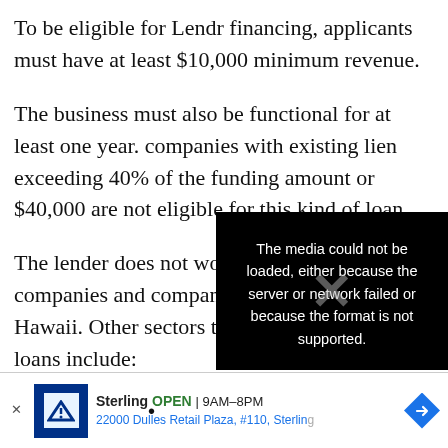To be eligible for Lendr financing, applicants must have at least $10,000 minimum revenue.
The business must also be functional for at least one year. companies with existing lien exceeding 40% of the funding amount or $40,000 are not eligible for this kind of loan.
The lender does not work with public trades companies and companies located in Alaska or Hawaii. Other sectors that are not eligible for loans include:
Automobile industries
[Figure (screenshot): Video error overlay with message: 'The media could not be loaded, either because the server or network failed or because the format is not supported.' with an X close button and a large X symbol overlay.]
[Figure (other): Petco advertisement banner: Sterling OPEN 9AM-8PM, 22000 Dulles Retail Plaza, #110, Sterling with blue directions arrow icon.]